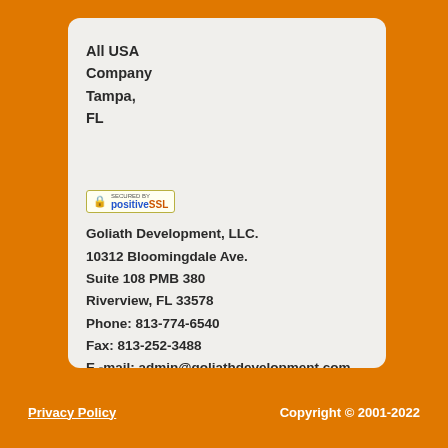All USA Company Tampa, FL
[Figure (logo): SSL secured by positiveSSL badge icon]
Goliath Development, LLC.
10312 Bloomingdale Ave.
Suite 108 PMB 380
Riverview, FL 33578
Phone: 813-774-6540
Fax: 813-252-3488
E -mail: admin@goliathdevelopment.com
Newsletter:
Enter your email here
Subscribe
Privacy Policy    Copyright © 2001-2022